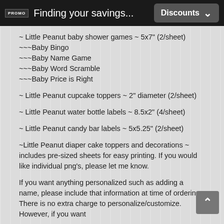Finding your savings... Discounts
~ Little Peanut baby shower games ~ 5x7" (2/sheet)
~~~Baby Bingo
~~~Baby Name Game
~~~Baby Word Scramble
~~~Baby Price is Right
~ Little Peanut cupcake toppers ~ 2" diameter (2/sheet)
~ Little Peanut water bottle labels ~ 8.5x2" (4/sheet)
~ Little Peanut candy bar labels ~ 5x5.25" (2/sheet)
~Little Peanut diaper cake toppers and decorations ~ includes pre-sized sheets for easy printing. If you would like individual png's, please let me know.
If you want anything personalized such as adding a name, please include that information at time of ordering. There is no extra charge to personalize/customize. However, if you want